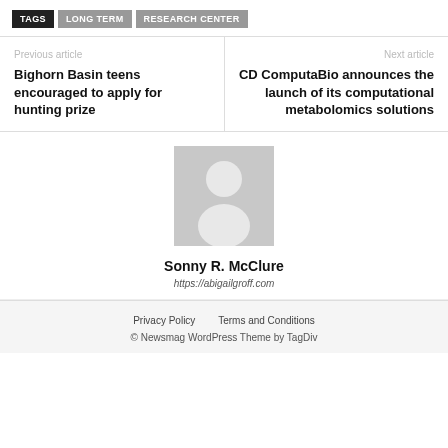TAGS  LONG TERM  RESEARCH CENTER
Previous article
Bighorn Basin teens encouraged to apply for hunting prize
Next article
CD ComputaBio announces the launch of its computational metabolomics solutions
[Figure (illustration): Generic user avatar placeholder image — gray silhouette of a person on a light gray background]
Sonny R. McClure
https://abigailgroff.com
Privacy Policy   Terms and Conditions
© Newsmag WordPress Theme by TagDiv